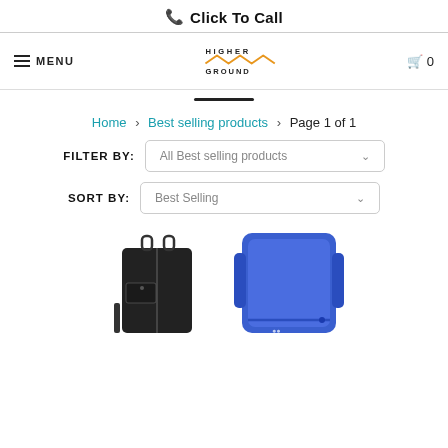📞 Click To Call
≡ MENU | HIGHER GROUND logo | 🛒 0
Home › Best selling products › Page 1 of 1
FILTER BY: All Best selling products
SORT BY: Best Selling
[Figure (photo): Two product images partially visible: a black laptop/tablet bag on the left and a blue rugged case on the right]